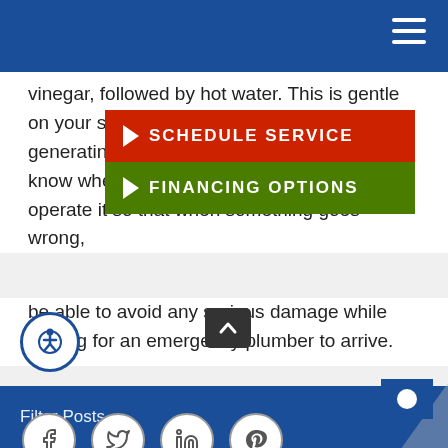Navigation bar with hamburger menu icon
vinegar, followed by hot water. This is gentle on your sewage system and w… generating. As a homeowner, make sure you know where your home's m… how to operate it so that when something goes wrong, be able to avoid any serious damage while waiting for an emergency plumber to arrive.
[Figure (screenshot): Red button overlay: SCHEDULE SERVICE with right arrow. Green button overlay: FINANCING OPTIONS with right arrow.]
SHARE ON
[Figure (infographic): Four social media share icons in circles: Facebook, Twitter, LinkedIn, Pinterest]
Filter Posts